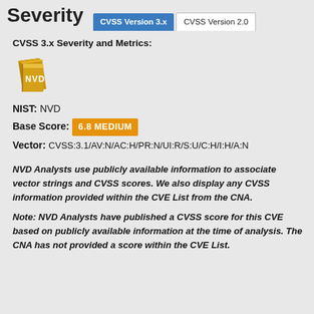Severity
CVSS Version 3.x | CVSS Version 2.0
CVSS 3.x Severity and Metrics:
[Figure (logo): NVD book logo with gold/yellow books and NVD text]
NIST: NVD
Base Score: 6.8 MEDIUM
Vector: CVSS:3.1/AV:N/AC:H/PR:N/UI:R/S:U/C:H/I:H/A:N
NVD Analysts use publicly available information to associate vector strings and CVSS scores. We also display any CVSS information provided within the CVE List from the CNA.
Note: NVD Analysts have published a CVSS score for this CVE based on publicly available information at the time of analysis. The CNA has not provided a score within the CVE List.